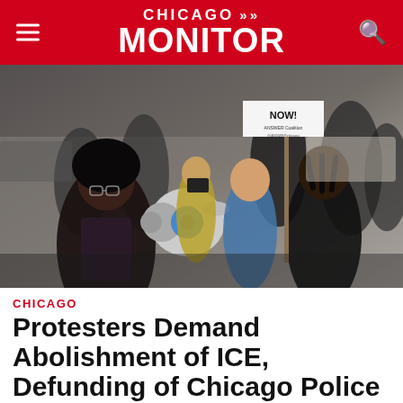CHICAGO MONITOR
[Figure (photo): Protesters marching on a city street. In the foreground, a Black woman with glasses holds a megaphone. Behind her, other protesters march, one holding a sign reading 'NOW!' with an ANSWER Coalition logo. A photographer in a yellow vest captures the scene.]
CHICAGO
Protesters Demand Abolishment of ICE, Defunding of Chicago Police